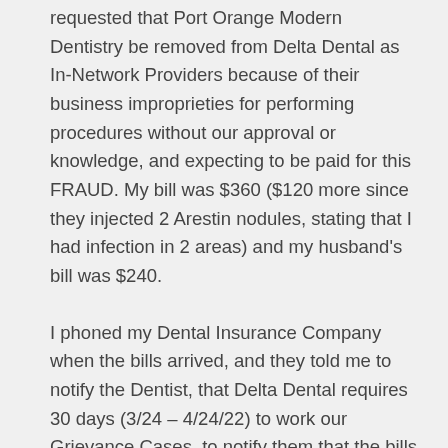requested that Port Orange Modern Dentistry be removed from Delta Dental as In-Network Providers because of their business improprieties for performing procedures without our approval or knowledge, and expecting to be paid for this FRAUD. My bill was $360 ($120 more since they injected 2 Arestin nodules, stating that I had infection in 2 areas) and my husband's bill was $240.
I phoned my Dental Insurance Company when the bills arrived, and they told me to notify the Dentist, that Delta Dental requires 30 days (3/24 – 4/24/22) to work our Grievance Cases, to notify them that the bills would not be paid within 30 days. I Emailed the Owner of the